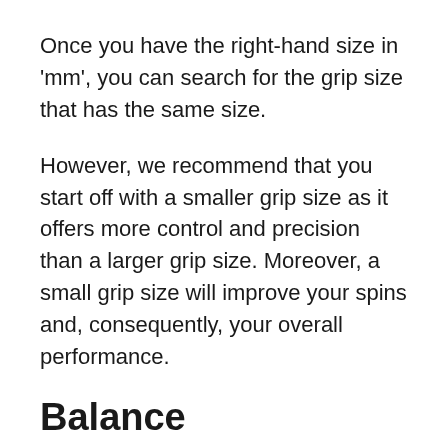Once you have the right-hand size in 'mm', you can search for the grip size that has the same size.
However, we recommend that you start off with a smaller grip size as it offers more control and precision than a larger grip size. Moreover, a small grip size will improve your spins and, consequently, your overall performance.
Balance
The balance of a racquet can be determined by looking at the weight of the head and the body. Nonetheless, you will have to test and try out to it and better…